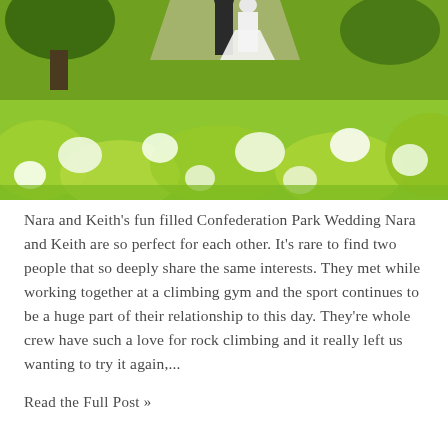[Figure (photo): Outdoor wedding photo taken from a low ground-level angle through green grass and white wildflowers in the foreground. A couple (bride in white dress, groom in dark suit) can be seen walking in the background on a green lawn with trees. The image has a soft, bokeh aesthetic with vibrant greens.]
Nara and Keith's fun filled Confederation Park Wedding Nara and Keith are so perfect for each other. It's rare to find two people that so deeply share the same interests. They met while working together at a climbing gym and the sport continues to be a huge part of their relationship to this day. They're whole crew have such a love for rock climbing and it really left us wanting to try it again,...
Read the Full Post »